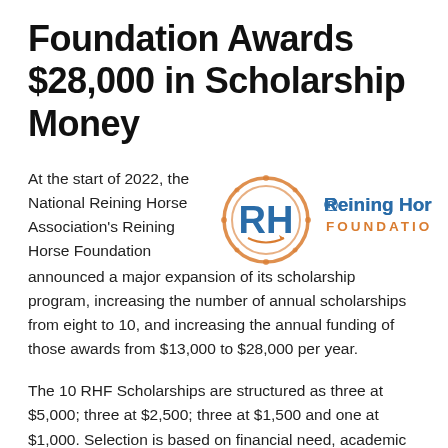Foundation Awards $28,000 in Scholarship Money
At the start of 2022, the National Reining Horse Association's Reining Horse Foundation announced a major expansion of its scholarship program, increasing the number of annual scholarships from eight to 10, and increasing the annual funding of those awards from $13,000 to $28,000 per year.
[Figure (logo): Reining Horse Foundation logo with 'RH' monogram in blue and orange circle design, and text 'Reining Horse FOUNDATION' in blue and orange.]
The 10 RHF Scholarships are structured as three at $5,000; three at $2,500; three at $1,500 and one at $1,000. Selection is based on financial need, academic record, involvement in the school and community, a special essay, and references